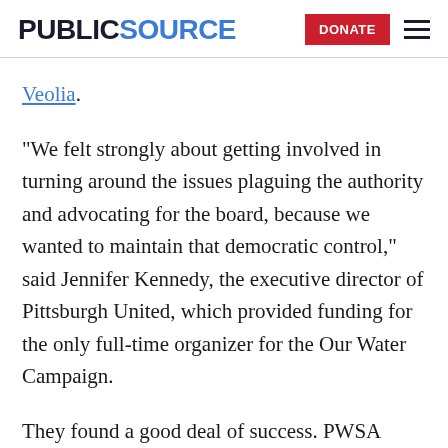PUBLICSOURCE | DONATE
Veolia.
“We felt strongly about getting involved in turning around the issues plaguing the authority and advocating for the board, because we wanted to maintain that democratic control,” said Jennifer Kennedy, the executive director of Pittsburgh United, which provided funding for the only full-time organizer for the Our Water Campaign.
They found a good deal of success. PWSA began to adopt changes that the activists believed would make